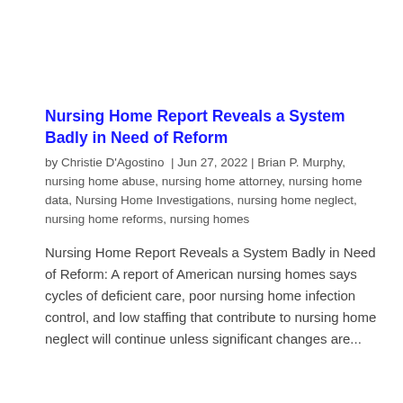Nursing Home Report Reveals a System Badly in Need of Reform
by Christie D'Agostino | Jun 27, 2022 | Brian P. Murphy, nursing home abuse, nursing home attorney, nursing home data, Nursing Home Investigations, nursing home neglect, nursing home reforms, nursing homes
Nursing Home Report Reveals a System Badly in Need of Reform: A report of American nursing homes says cycles of deficient care, poor nursing home infection control, and low staffing that contribute to nursing home neglect will continue unless significant changes are...